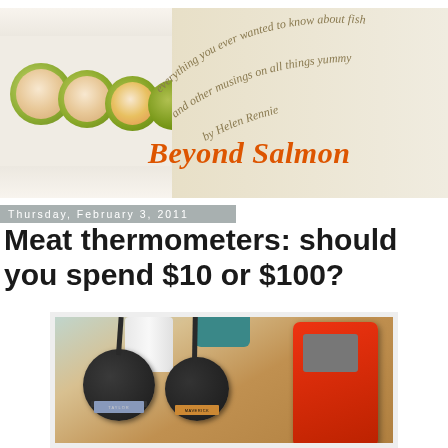[Figure (photo): Beyond Salmon blog header with salmon/cucumber rolls photo on left, cursive curved tagline text, blog name in orange italic]
Thursday, February 3, 2011
Meat thermometers: should you spend $10 or $100?
[Figure (photo): Photo of two round dial meat thermometers and one red rectangular digital thermometer on a wooden table]